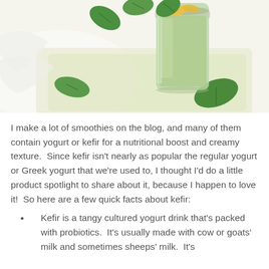[Figure (photo): A green smoothie in a mason jar with mango pieces on top, surrounded by fresh spinach leaves on a light yellow-green cutting board or surface, with a white background.]
I make a lot of smoothies on the blog, and many of them contain yogurt or kefir for a nutritional boost and creamy texture.  Since kefir isn't nearly as popular the regular yogurt or Greek yogurt that we're used to, I thought I'd do a little product spotlight to share about it, because I happen to love it!  So here are a few quick facts about kefir:
Kefir is a tangy cultured yogurt drink that's packed with probiotics.  It's usually made with cow or goats' milk and sometimes sheeps' milk.  It's